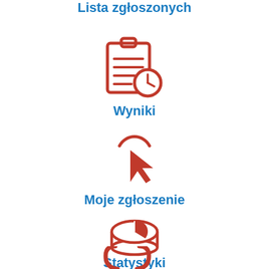[Figure (illustration): Red icon of a list/document with people silhouettes]
Lista zgłoszonych
[Figure (illustration): Red icon of a clipboard with a clock/stopwatch]
Wyniki
[Figure (illustration): Red icon of a cursor/hand clicking]
Moje zgłoszenie
[Figure (illustration): Red icon of a pie chart / 3D pie]
Statystyki
[Figure (illustration): Red icon of two hooks/brackets (partially visible)]